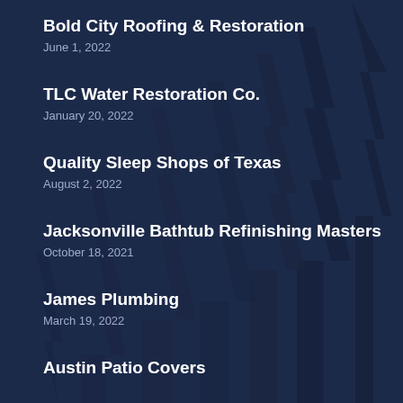Bold City Roofing & Restoration
June 1, 2022
TLC Water Restoration Co.
January 20, 2022
Quality Sleep Shops of Texas
August 2, 2022
Jacksonville Bathtub Refinishing Masters
October 18, 2021
James Plumbing
March 19, 2022
Austin Patio Covers